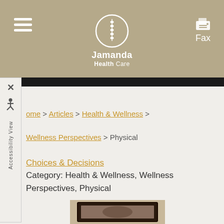[Figure (logo): Jamanda Health Care logo with spine icon in circle, hamburger menu and Fax button in tan/beige header]
Home > Articles > Health & Wellness > Wellness Perspectives > Physical
Choices & Decisions
Category: Health & Wellness, Wellness Perspectives, Physical
[Figure (photo): Partial photo of a framed picture at the bottom of the page]